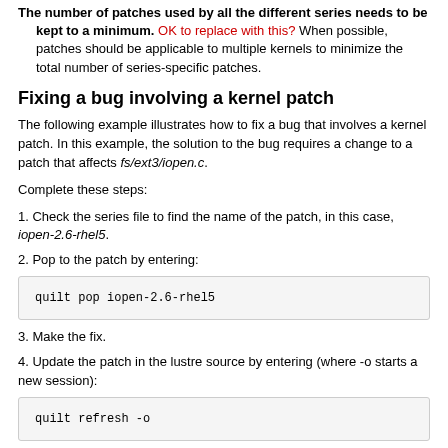The number of patches used by all the different series needs to be kept to a minimum. OK to replace with this? When possible, patches should be applicable to multiple kernels to minimize the total number of series-specific patches.
Fixing a bug involving a kernel patch
The following example illustrates how to fix a bug that involves a kernel patch. In this example, the solution to the bug requires a change to a patch that affects fs/ext3/iopen.c.
Complete these steps:
1. Check the series file to find the name of the patch, in this case, iopen-2.6-rhel5.
2. Pop to the patch by entering:
quilt pop iopen-2.6-rhel5
3. Make the fix.
4. Update the patch in the lustre source by entering (where -o starts a new session):
quilt refresh -o